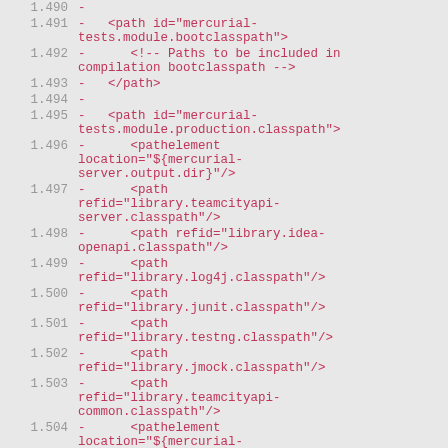1.490  -
1.491  -   <path id="mercurial-tests.module.bootclasspath">
1.492  -      <!-- Paths to be included in compilation bootclasspath -->
1.493  -   </path>
1.494  -
1.495  -   <path id="mercurial-tests.module.production.classpath">
1.496  -      <pathelement location="${mercurial-server.output.dir}"/>
1.497  -      <path refid="library.teamcityapi-server.classpath"/>
1.498  -      <path refid="library.idea-openapi.classpath"/>
1.499  -      <path refid="library.log4j.classpath"/>
1.500  -      <path refid="library.junit.classpath"/>
1.501  -      <path refid="library.testng.classpath"/>
1.502  -      <path refid="library.jmock.classpath"/>
1.503  -      <path refid="library.teamcityapi-common.classpath"/>
1.504  -      <pathelement location="${mercurial-